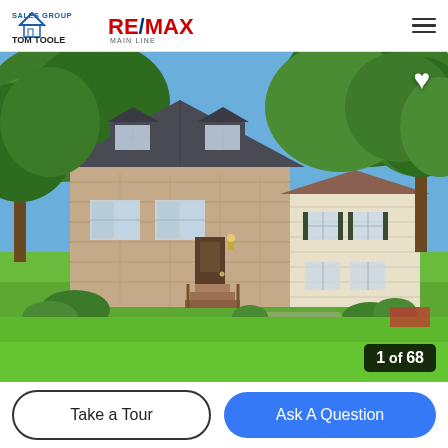Tom Toole Sales Group RE/MAX Main Line
[Figure (photo): Exterior photo of a two-story colonial stone and siding house with dormer windows, large green lawn, trees, and a wood entry staircase. Bottom-right badge reads '1 of 68'.]
Take a Tour
Ask A Question